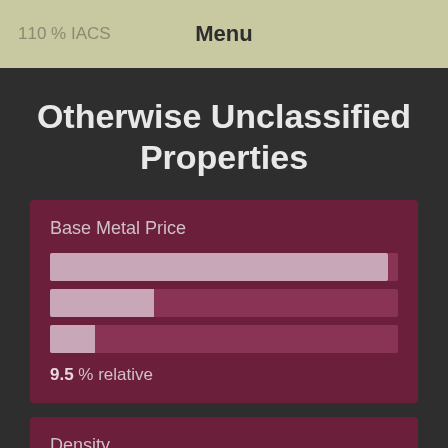110 % IACS   Menu
Otherwise Unclassified Properties
Base Metal Price
9.5 % relative
Density